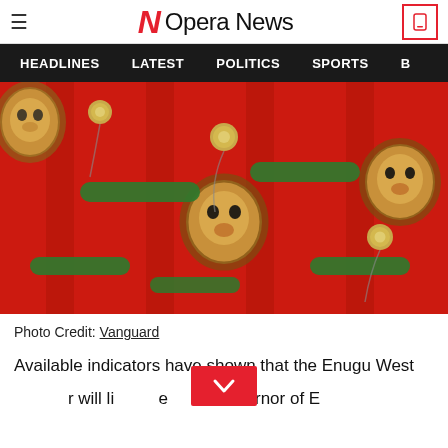Opera News
HEADLINES   LATEST   POLITICS   SPORTS
[Figure (photo): Close-up of a red fabric/clothing with lion print pattern and green embroidery decorations with gold ball buttons]
Photo Credit: Vanguard
Available indicators have shown that the Enugu West Senator will become...Governor of E...